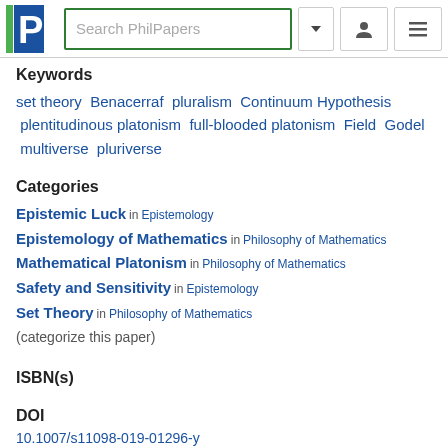Search PhilPapers
Keywords
set theory  Benacerraf  pluralism  Continuum Hypothesis  plentitudinous platonism  full-blooded platonism  Field  Godel  multiverse  pluriverse
Categories
Epistemic Luck in Epistemology
Epistemology of Mathematics in Philosophy of Mathematics
Mathematical Platonism in Philosophy of Mathematics
Safety and Sensitivity in Epistemology
Set Theory in Philosophy of Mathematics
(categorize this paper)
ISBN(s)
DOI
10.1007/s11098-019-01296-y